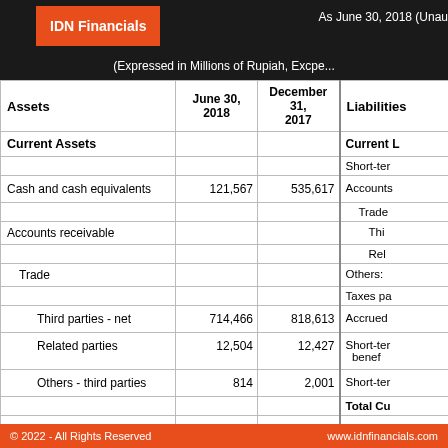IDN Financials  As June 30, 2018 (Unaudited)
(Expressed in Millions of Rupiah, Except...)
| Assets | June 30, 2018 | December 31, 2017 | Liabilities |
| --- | --- | --- | --- |
| Current Assets |  |  | Current L... |
|  |  |  | Short-ter... |
| Cash and cash equivalents | 121,567 | 535,617 | Accounts... |
|  |  |  | Trade |
| Accounts receivable |  |  | Thi... |
|  |  |  | Rel... |
| Trade |  |  | Others: |
|  |  |  | Taxes pa... |
| Third parties - net | 714,466 | 818,613 | Accrued ... |
| Related parties | 12,504 | 12,427 | Short-ter... benef... |
| Others - third parties | 814 | 2,001 | Short-ter... |
|  |  |  | Total Cu... |
| Inventories - net | 681,660 | 650,839 | Non-curr... |
© 2022 - All Rights Reserved   www.idnfinancials.com